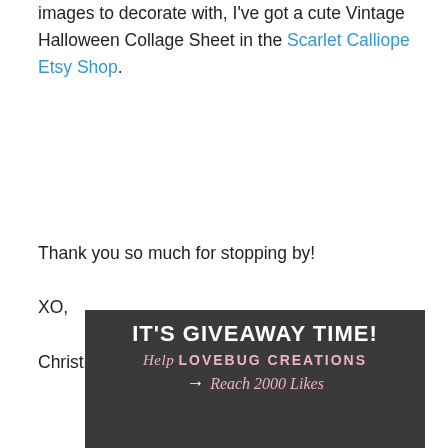images to decorate with, I've got a cute Vintage Halloween Collage Sheet in the Scarlet Calliope Etsy Shop.
Thank you so much for stopping by!

XO,

Christine Barler
[Figure (infographic): Dark chalkboard-style promotional image with text: IT'S GIVEAWAY TIME! Help LOVEBUG CREATIONS → Reach 2000 Likes]